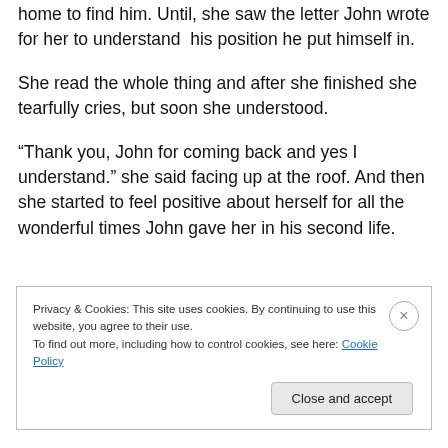home to find him. Until, she saw the letter John wrote for her to understand his position he put himself in.
She read the whole thing and after she finished she tearfully cries, but soon she understood.
“Thank you, John for coming back and yes I understand.” she said facing up at the roof. And then she started to feel positive about herself for all the wonderful times John gave her in his second life.
Privacy & Cookies: This site uses cookies. By continuing to use this website, you agree to their use.
To find out more, including how to control cookies, see here: Cookie Policy
Close and accept